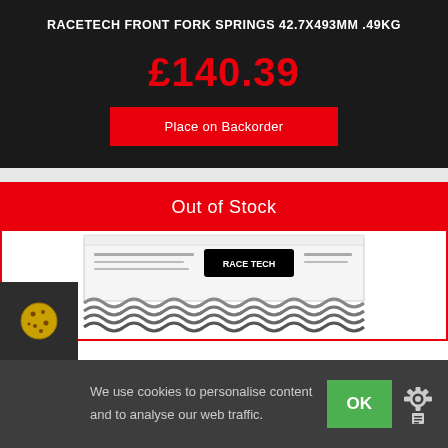RACETECH FRONT FORK SPRINGS 42.7x493mm .49kg
£140.39
Place on Backorder
Out of Stock
[Figure (photo): Photo of Race Tech front fork springs product in white box packaging with coiled spring visible]
We use cookies to personalise content and to analyse our web traffic.
OK